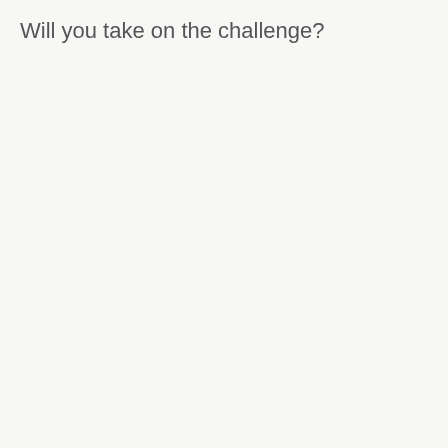Will you take on the challenge?